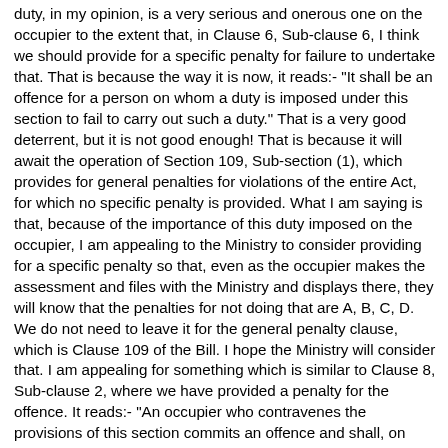duty, in my opinion, is a very serious and onerous one on the occupier to the extent that, in Clause 6, Sub-clause 6, I think we should provide for a specific penalty for failure to undertake that. That is because the way it is now, it reads:- "It shall be an offence for a person on whom a duty is imposed under this section to fail to carry out such a duty." That is a very good deterrent, but it is not good enough! That is because it will await the operation of Section 109, Sub-section (1), which provides for general penalties for violations of the entire Act, for which no specific penalty is provided. What I am saying is that, because of the importance of this duty imposed on the occupier, I am appealing to the Ministry to consider providing for a specific penalty so that, even as the occupier makes the assessment and files with the Ministry and displays there, they will know that the penalties for not doing that are A, B, C, D. We do not need to leave it for the general penalty clause, which is Clause 109 of the Bill. I hope the Ministry will consider that. I am appealing for something which is similar to Clause 8, Sub-clause 2, where we have provided a penalty for the offence. It reads:- "An occupier who contravenes the provisions of this section commits an offence and shall, on conviction, be liable to a fine not exceeding one hundred thousand shillings or to imprisonment for a term not exceeding three months or to both." That is what I am say about